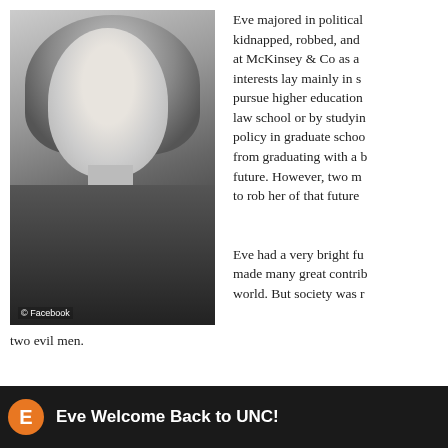[Figure (photo): Black and white portrait photo of a young blonde woman in a dark turtleneck, looking at the camera. Photo credit: © Facebook]
Eve majored in political science... kidnapped, robbed, and... at McKinsey & Co as a... interests lay mainly in s... pursue higher education... law school or by studyin... policy in graduate schoo... from graduating with a b... future. However, two m... to rob her of that future...
Eve had a very bright fu... made many great contrib... world. But society was r... two evil men.
[Figure (screenshot): Dark background social media post header showing an orange circle avatar with letter E and text 'Eve Welcome Back to UNC!']